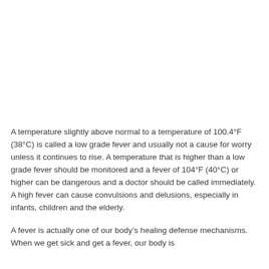A temperature slightly above normal to a temperature of 100.4°F (38°C) is called a low grade fever and usually not a cause for worry unless it continues to rise. A temperature that is higher than a low grade fever should be monitored and a fever of 104°F (40°C) or higher can be dangerous and a doctor should be called immediately. A high fever can cause convulsions and delusions, especially in infants, children and the elderly.
A fever is actually one of our body's healing defense mechanisms. When we get sick and get a fever, our body is